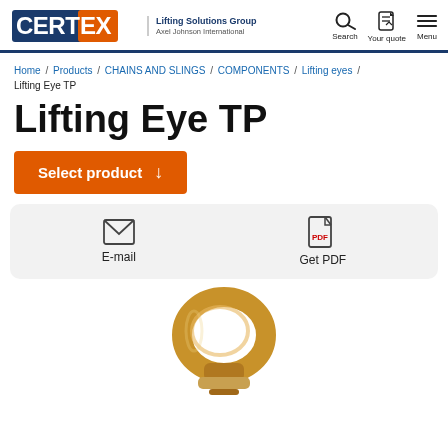CERTEX Lifting Solutions Group Axel Johnson International — Search, Your quote, Menu
Home / Products / CHAINS AND SLINGS / COMPONENTS / Lifting eyes / Lifting Eye TP
Lifting Eye TP
Select product ↓
[Figure (infographic): Action bar with E-mail icon (envelope) and Get PDF icon (PDF document)]
[Figure (photo): Gold/bronze colored Lifting Eye TP hardware component, oval ring with screw pin at bottom]